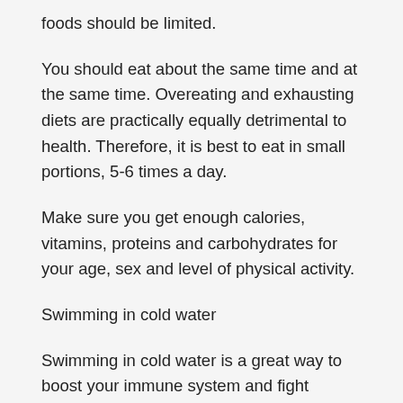foods should be limited.
You should eat about the same time and at the same time. Overeating and exhausting diets are practically equally detrimental to health. Therefore, it is best to eat in small portions, 5-6 times a day.
Make sure you get enough calories, vitamins, proteins and carbohydrates for your age, sex and level of physical activity.
Swimming in cold water
Swimming in cold water is a great way to boost your immune system and fight against a lot of diseases. Contracting showers, sun and air baths